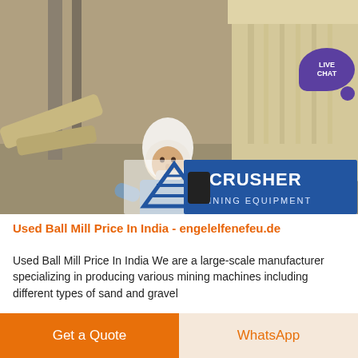[Figure (photo): Industrial mining facility interior with a worker in white head covering and blue shirt standing next to a large cream/beige cylindrical mill machine. Background shows industrial warehouse structure. Bottom portion shows ACRUSHER MINING EQUIPMENT logo overlay with blue background.]
Used Ball Mill Price In India - engelelfenefeu.de
Used Ball Mill Price In India We are a large-scale manufacturer specializing in producing various mining machines including different types of sand and gravel